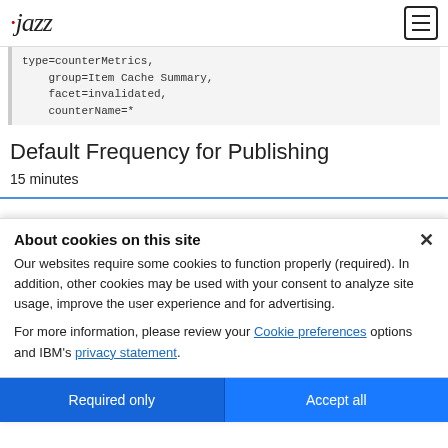Jazz (logo) | Hamburger menu
type=counterMetrics,
    group=Item Cache Summary,
    facet=invalidated,
    counterName=*
Default Frequency for Publishing
15 minutes
About cookies on this site
Our websites require some cookies to function properly (required). In addition, other cookies may be used with your consent to analyze site usage, improve the user experience and for advertising.

For more information, please review your Cookie preferences options and IBM's privacy statement.
Required only | Accept all